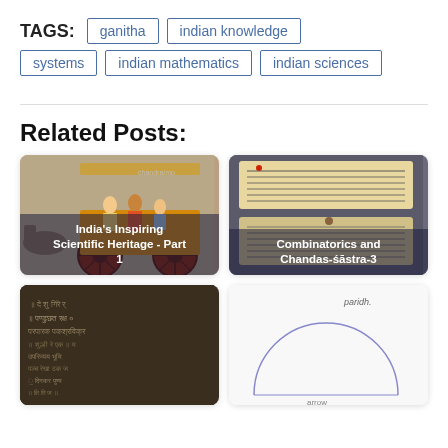TAGS: ganitha | indian knowledge systems | indian mathematics | indian sciences
Related Posts:
[Figure (photo): Indian classical painting showing people in a chariot, with caption 'India's Inspiring Scientific Heritage - Part 1']
[Figure (photo): Ancient Sanskrit manuscript pages with text, captioned 'Combinatorics and Chandas-śāstra-3']
[Figure (photo): Dark stone inscription with ancient script]
[Figure (illustration): Geometric diagram showing a semicircle with labels 'paridh' and 'arrow' annotation]